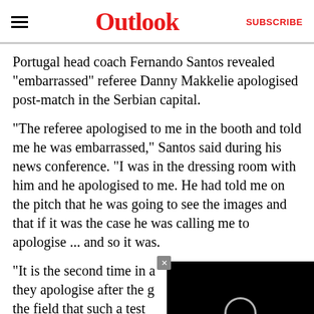Outlook | SUBSCRIBE
Portugal head coach Fernando Santos revealed "embarrassed" referee Danny Makkelie apologised post-match in the Serbian capital.
"The referee apologised to me in the booth and told me he was embarrassed," Santos said during his news conference. "I was in the dressing room with him and he apologised to me. He had told me on the pitch that he was going to see the images and that if it was the case he was calling me to apologise ... and so it was.
"It is the second time in a they apologise after the g the field that such a test line... Incidentally, one of the things he told me